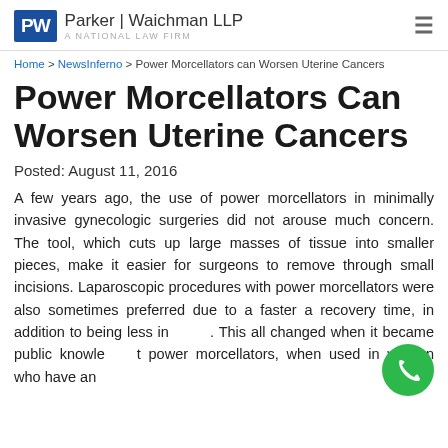Parker | Waichman LLP — A National Law Firm
Home > NewsInferno > Power Morcellators can Worsen Uterine Cancers
Power Morcellators Can Worsen Uterine Cancers
Posted: August 11, 2016
A few years ago, the use of power morcellators in minimally invasive gynecologic surgeries did not arouse much concern. The tool, which cuts up large masses of tissue into smaller pieces, make it easier for surgeons to remove through small incisions. Laparoscopic procedures with power morcellators were also sometimes preferred due to a faster a recovery time, in addition to being less invasive. This all changed when it became public knowledge that power morcellators, when used in women who have an